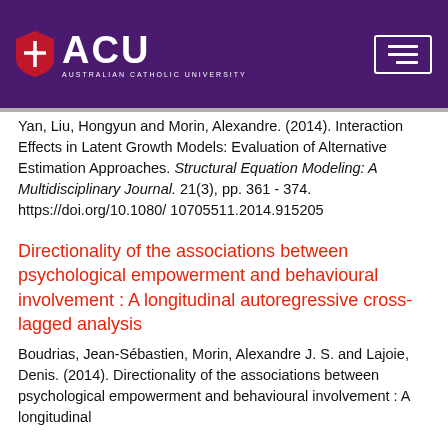[Figure (logo): Australian Catholic University (ACU) logo with purple header bar, shield icon, ACU lettering, and hamburger menu button]
Yan, Liu, Hongyun and Morin, Alexandre. (2014). Interaction Effects in Latent Growth Models: Evaluation of Alternative Estimation Approaches. Structural Equation Modeling: A Multidisciplinary Journal. 21(3), pp. 361 - 374. https://doi.org/10.1080/10705511.2014.915205
Directionality of the associations between psychological empowerment and behavioural involvement : A longitudinal autoregressive cross-lagged analysis
Boudrias, Jean-Sébastien, Morin, Alexandre J. S. and Lajoie, Denis. (2014). Directionality of the associations between psychological empowerment and behavioural involvement : A longitudinal